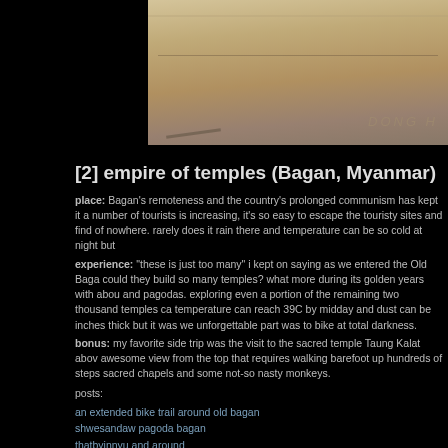[Figure (photo): A partial view of a sandy/stone surface with italic text watermark reading 'DONG H' at bottom right]
[2] empire of temples (Bagan, Myanmar)
place: Bagan's remoteness and the country's prolonged communism has kept it a number of tourists is increasing, it's so easy to escape the touristy sites and find of nowhere. rarely does it rain there and temperature can be so cold at night but
experience: "these is just too many" i kept on saying as we entered the Old Bagan could they build so many temples? what more during its golden years with abou and pagodas. exploring even a portion of the remaining two thousand temples ca temperature can reach 39C by midday and dust can be inches thick but it was we unforgettable part was to bike at total darkness.
bonus: my favorite side trip was the visit to the sacred temple Taung Kalat above awesome view from the top that requires walking barefoot up hundreds of steps sacred chapels and some not-so nasty monkeys.
posts:
an extended bike trail around old bagan
shwesandaw pagoda bagan
thatbyinnyu and around
the charm of new bagan
on the road from yangon to bagan
tharabar gate hotel bagan myanmar
bagan central hotel